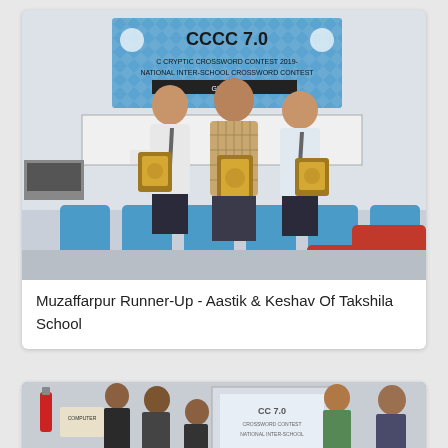[Figure (photo): Three people standing in a room holding award plaques. A CCCC 7.0 banner is visible in the background reading 'C CRYPTIC CROSSWORD CONTEST 2019 - NATIONAL INTER-SCHOOL CROSSWORD CONTEST, GROUND'. Blue and red chairs are visible in the background.]
Muzaffarpur Runner-Up - Aastik & Keshav Of Takshila School
[Figure (photo): A group of people standing in a room with a projected screen showing CC 7.0 presentation. A fire extinguisher and computer sign are visible on the left.]